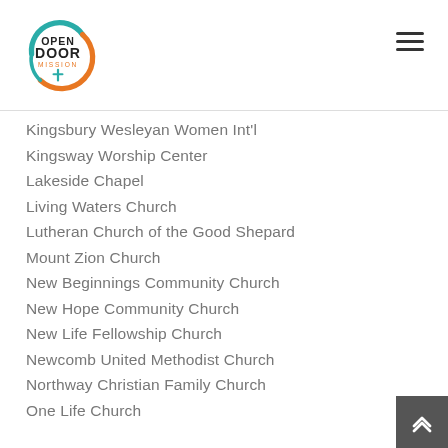[Figure (logo): Open Door Mission logo — circular design with teal and orange arcs, cross icon, text OPEN DOOR MISSION]
Kingsbury Wesleyan Women Int'l
Kingsway Worship Center
Lakeside Chapel
Living Waters Church
Lutheran Church of the Good Shepard
Mount Zion Church
New Beginnings Community Church
New Hope Community Church
New Life Fellowship Church
Newcomb United Methodist Church
Northway Christian Family Church
One Life Church